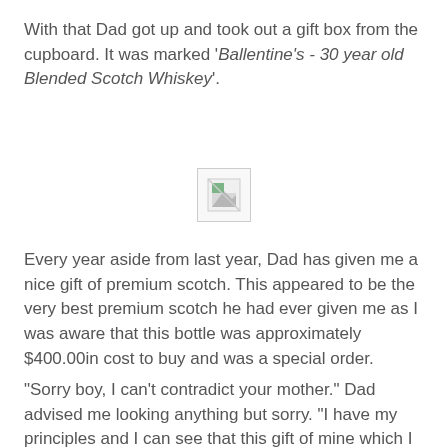With that Dad got up and took out a gift box from the cupboard. It was marked 'Ballentine's - 30 year old Blended Scotch Whiskey'.
[Figure (other): Broken/missing image placeholder icon]
Every year aside from last year, Dad has given me a nice gift of premium scotch. This appeared to be the very best premium scotch he had ever given me as I was aware that this bottle was approximately $400.00in cost to buy and was a special order.
"Sorry boy, I can't contradict your mother." Dad advised me looking anything but sorry. "I have my principles and I can see that this gift of mine which I ordered for you special, would do more harm than good. I will just have to make a personal sacrifice this year and keep it for myself."
Things were now no longer going good for meat all. In fact